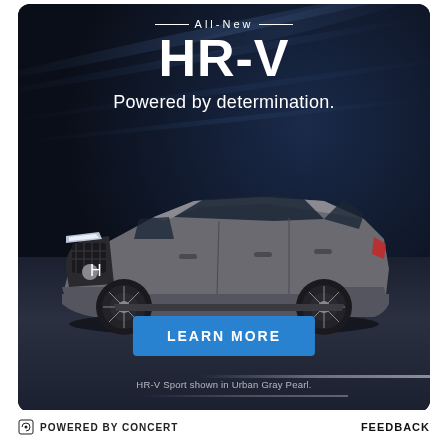[Figure (illustration): Honda HR-V advertisement. Dark background with speed light streaks. All-New HR-V text at top. Gray Honda HR-V SUV in center. Blue 'LEARN MORE' button. Disclaimer text at bottom.]
All-New
HR-V
Powered by determination.
LEARN MORE
HR-V Sport shown in Urban Gray Pearl.
POWERED BY CONCERT    FEEDBACK